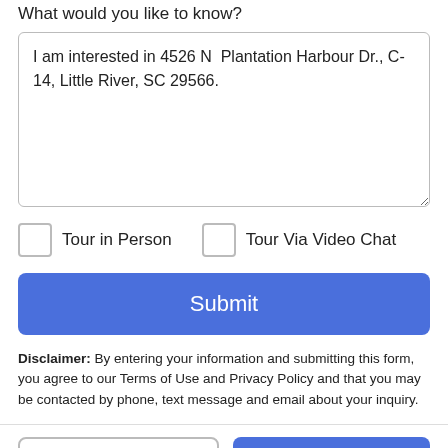What would you like to know?
I am interested in 4526 N  Plantation Harbour Dr., C-14, Little River, SC 29566.
Tour in Person
Tour Via Video Chat
Submit
Disclaimer: By entering your information and submitting this form, you agree to our Terms of Use and Privacy Policy and that you may be contacted by phone, text message and email about your inquiry.
Take a Tour
Ask A Question